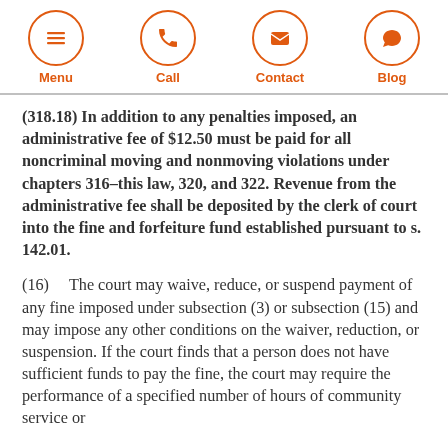Menu | Call | Contact | Blog
(318.18) In addition to any penalties imposed, an administrative fee of $12.50 must be paid for all noncriminal moving and nonmoving violations under chapters 316–this law, 320, and 322. Revenue from the administrative fee shall be deposited by the clerk of court into the fine and forfeiture fund established pursuant to s. 142.01.
(16)    The court may waive, reduce, or suspend payment of any fine imposed under subsection (3) or subsection (15) and may impose any other conditions on the waiver, reduction, or suspension. If the court finds that a person does not have sufficient funds to pay the fine, the court may require the performance of a specified number of hours of community service or